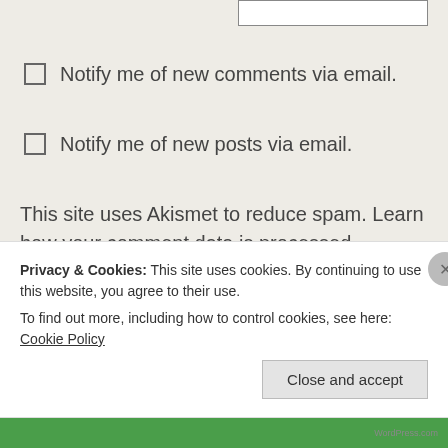Notify me of new comments via email.
Notify me of new posts via email.
This site uses Akismet to reduce spam. Learn how your comment data is processed.
Follow Blog via Email
I'd love you to follow my blog. Yes, you! Simply
Privacy & Cookies: This site uses cookies. By continuing to use this website, you agree to their use.
To find out more, including how to control cookies, see here: Cookie Policy